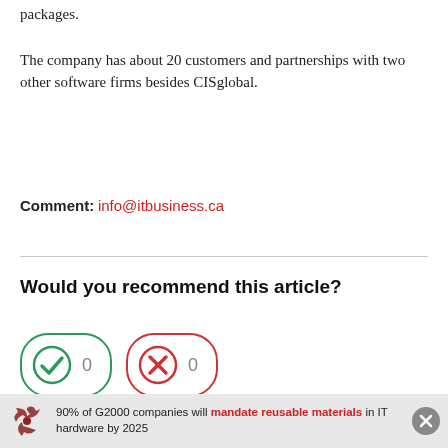packages.
The company has about 20 customers and partnerships with two other software firms besides CISglobal.
Comment: info@itbusiness.ca
Would you recommend this article?
[Figure (infographic): Two voting buttons: a green checkmark button with count 0 and a red X button with count 0]
[Figure (infographic): Banner ad: recycling icon and text '90% of G2000 companies will mandate reusable materials in IT hardware by 2025' with close button]